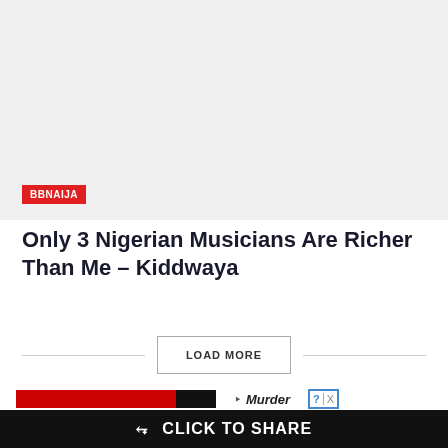[Figure (photo): Light gray placeholder image area with a red BBNAIJA tag label in the lower left corner]
Only 3 Nigerian Musicians Are Richer Than Me – Kiddwaya
LOAD MORE
[Figure (screenshot): Bottom advertisement strip showing red/black banners, a Murder text link, and a question/close ad box]
CLICK TO SHARE